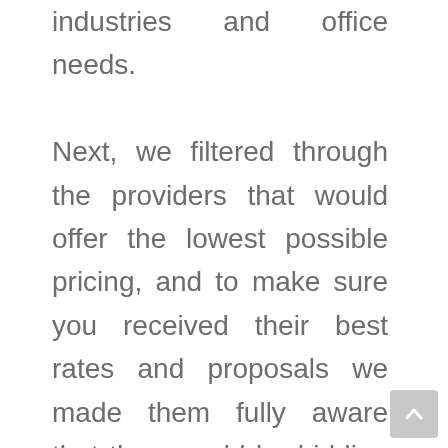industries and office needs.

Next, we filtered through the providers that would offer the lowest possible pricing, and to make sure you received their best rates and proposals we made them fully aware that they would be bidding for your business against their competition. Of course, the more costly services ran away from this model, and we expected them to. The result, you get exactly what you need without hours